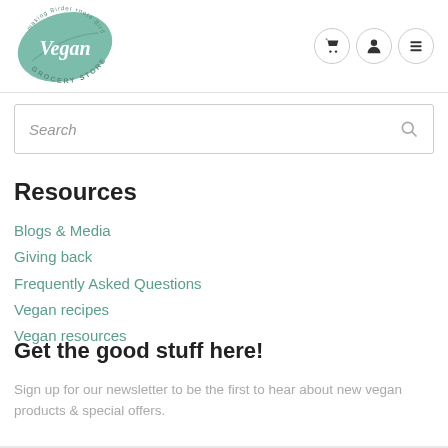[Figure (logo): Vegan Grocery Store logo — green leaf with cursive 'Vegan' text and 'GROCERY STORE' text around it]
[Figure (other): Navigation icons: shopping cart, user/person, and hamburger menu — each in a circular bordered button]
Search
Resources
Blogs & Media
Giving back
Frequently Asked Questions
Vegan recipes
Vegan resources
Get the good stuff here!
Sign up for our newsletter to be the first to hear about new vegan products & special offers.